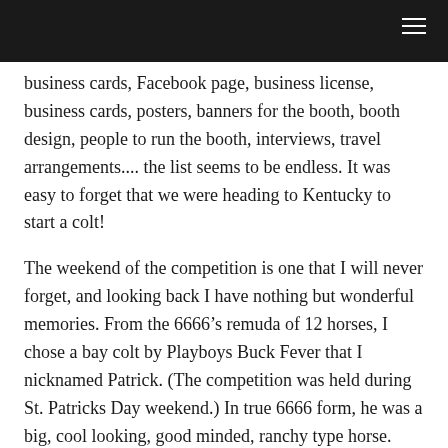business cards, Facebook page, business license, business cards, posters, banners for the booth, booth design, people to run the booth, interviews, travel arrangements.... the list seems to be endless. It was easy to forget that we were heading to Kentucky to start a colt!
The weekend of the competition is one that I will never forget, and looking back I have nothing but wonderful memories. From the 6666’s remuda of 12 horses, I chose a bay colt by Playboys Buck Fever that I nicknamed Patrick. (The competition was held during St. Patricks Day weekend.) In true 6666 form, he was a big, cool looking, good minded, ranchy type horse. Once the competition started, it took a little for me to get really started and maybe I